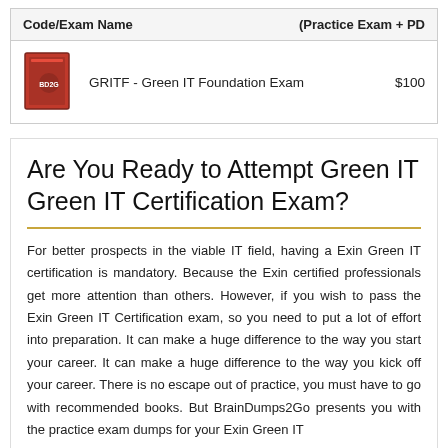| Code/Exam Name | (Practice Exam + PDF) |
| --- | --- |
| GRITF - Green IT Foundation Exam | $100 |
Are You Ready to Attempt Green IT Green IT Certification Exam?
For better prospects in the viable IT field, having a Exin Green IT certification is mandatory. Because the Exin certified professionals get more attention than others. However, if you wish to pass the Exin Green IT Certification exam, so you need to put a lot of effort into preparation. It can make a huge difference to the way you start your career. It can make a huge difference to the way you kick off your career. There is no escape out of practice, you must have to go with recommended books. But BrainDumps2Go presents you with the practice exam dumps for your Exin Green IT